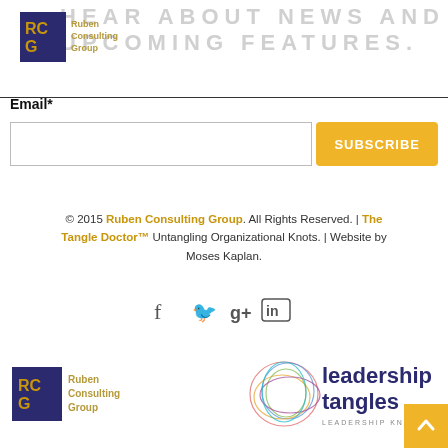[Figure (logo): Ruben Consulting Group logo with dark blue square and gold text]
HEAR ABOUT NEWS AND UPCOMING FEATURES.
Email*
SUBSCRIBE
© 2015 Ruben Consulting Group. All Rights Reserved. | The Tangle Doctor™ Untangling Organizational Knots. | Website by Moses Kaplan.
[Figure (logo): Social media icons: Facebook, Twitter, Google+, LinkedIn]
[Figure (logo): Bottom logos: Ruben Consulting Group and Leadership Tangles logos side by side]